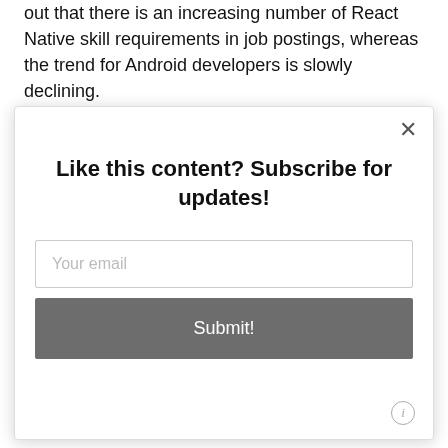out that there is an increasing number of React Native skill requirements in job postings, whereas the trend for Android developers is slowly declining.
Like this content? Subscribe for updates!
Your email
Submit!